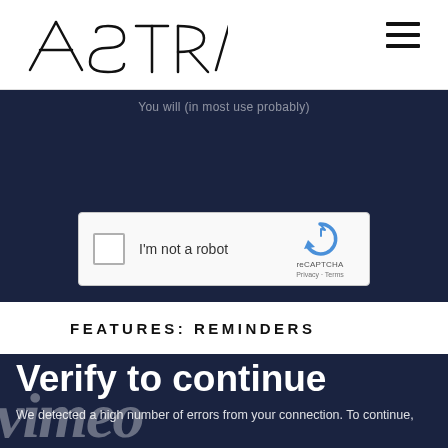[Figure (logo): ASTRA logo in thin letterform style, uppercase, with hamburger menu icon top right]
You will (in most use probably)
[Figure (screenshot): reCAPTCHA widget box with checkbox labeled 'I'm not a robot' and reCAPTCHA branding with Privacy and Terms links]
FEATURES: REMINDERS
Verify to continue
We detected a high number of errors from your connection. To continue, please confirm that you're a human (and not a spambot).
[Figure (logo): Vimeo watermark logo overlaid in large italic white text]